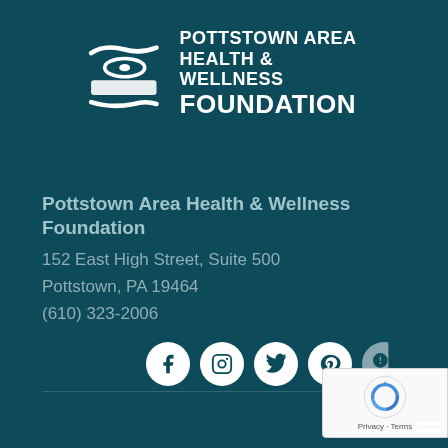[Figure (logo): Pottstown Area Health & Wellness Foundation logo with abstract swoosh icon and white text on teal background]
Pottstown Area Health & Wellness Foundation
152 East High Street, Suite 500
Pottstown, PA 19464
(610) 323-2006
[Figure (infographic): Social media icons: Facebook, Instagram, Twitter, Pinterest, and a partially visible fifth icon, all in white circles on teal background]
[Figure (other): reCAPTCHA badge with Privacy and Terms links]